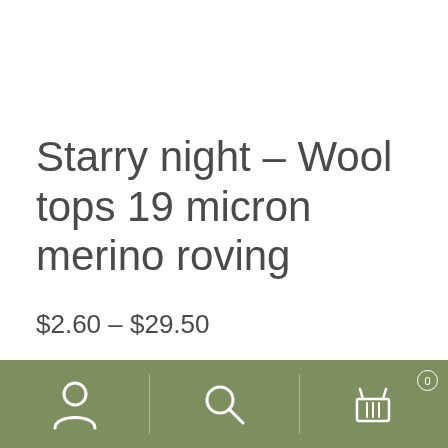Starry night – Wool tops 19 micron merino roving
$2.60 – $29.50
[Figure (other): Bottom navigation bar with sage/olive green background containing three icons: a user/account icon on the left, a search magnifying glass icon in the center, and a shopping cart icon with badge showing '0' on the right, separated by vertical dividers.]